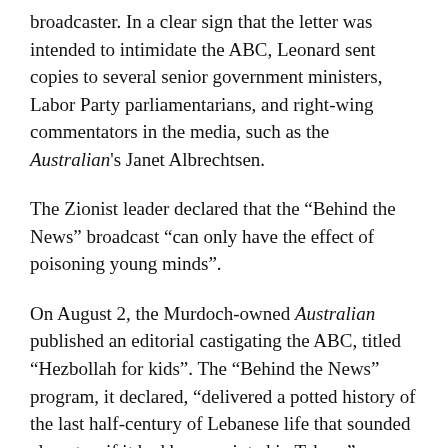broadcaster. In a clear sign that the letter was intended to intimidate the ABC, Leonard sent copies to several senior government ministers, Labor Party parliamentarians, and right-wing commentators in the media, such as the Australian's Janet Albrechtsen.
The Zionist leader declared that the "Behind the News" broadcast "can only have the effect of poisoning young minds".
On August 2, the Murdoch-owned Australian published an editorial castigating the ABC, titled "Hezbollah for kids". The "Behind the News" program, it declared, "delivered a potted history of the last half-century of Lebanese life that sounded almost as if it had been scripted in Tehran".
The editorial complained that the ABC said "that in 1948 'Israel was proclaimed as a country for Jewish people, taking much of the land from Palestinian Muslims'; and